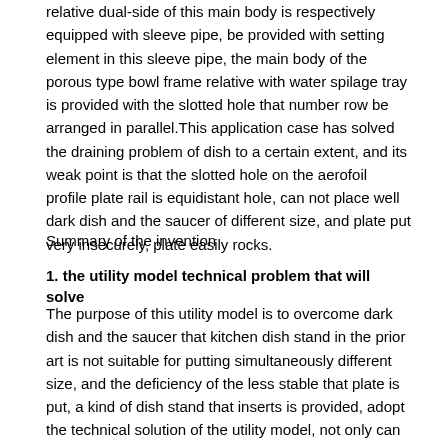relative dual-side of this main body is respectively equipped with sleeve pipe, be provided with setting element in this sleeve pipe, the main body of the porous type bowl frame relative with water spilage tray is provided with the slotted hole that number row be arranged in parallel.This application case has solved the draining problem of dish to a certain extent, and its weak point is that the slotted hole on the aerofoil profile plate rail is equidistant hole, can not place well dark dish and the saucer of different size, and plate put very insecurely, plate easily rocks.
Summary of the invention
1. the utility model technical problem that will solve
The purpose of this utility model is to overcome dark dish and the saucer that kitchen dish stand in the prior art is not suitable for putting simultaneously different size, and the deficiency of the less stable that plate is put, a kind of dish stand that inserts is provided, adopt the technical solution of the utility model, not only can deposit the plate of different size, and plate relatively fixedly puts, and draining